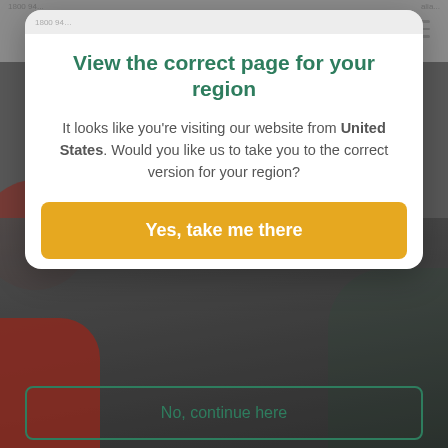[Figure (screenshot): Dimmed background showing Phorest website with colorful shapes and a person working in the lower half]
View the correct page for your region
It looks like you're visiting our website from United States. Would you like us to take you to the correct version for your region?
Yes, take me there
No, continue here